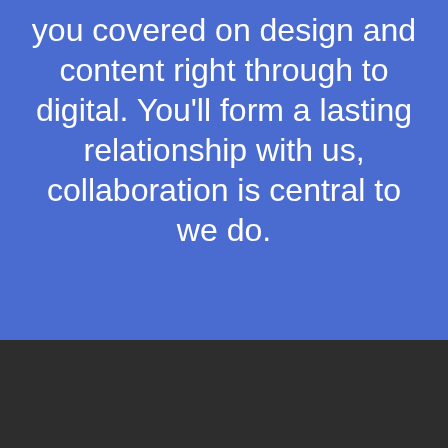you covered on design and content right through to digital. You'll form a lasting relationship with us, collaboration is central to we do.